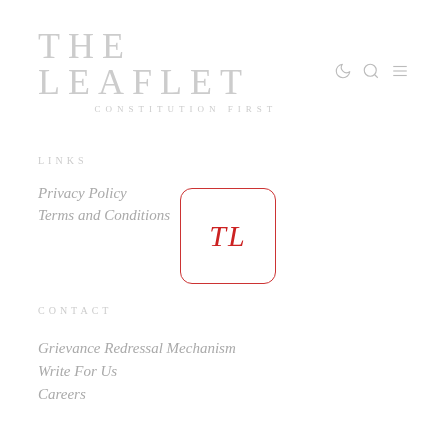THE LEAFLET | CONSTITUTION FIRST
LINKS
Privacy Policy
Terms and Conditions
[Figure (logo): TL logo box with red italic TL letters inside a rounded rectangle border]
CONTACT
Grievance Redressal Mechanism
Write For Us
Careers